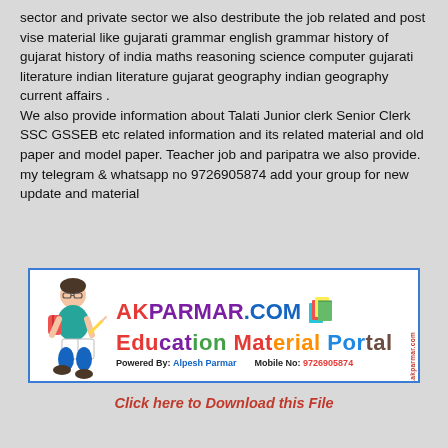sector and private sector we also destribute the job related and post vise material like gujarati grammar english grammar history of gujarat history of india maths reasoning science computer gujarati literature indian literature gujarat geography indian geography current affairs .
We also provide information about Talati Junior clerk Senior Clerk SSC GSSEB etc related information and its related material and old paper and model paper. Teacher job and paripatra we also provide. my telegram & whatsapp no 9726905874 add your group for new update and material
[Figure (logo): Akparmar.com Education Material Portal banner with student illustration, logo text, books icon, and contact information. Powered By: Alpesh Parmar, Mobile No: 9726905874]
Click here to Download this File